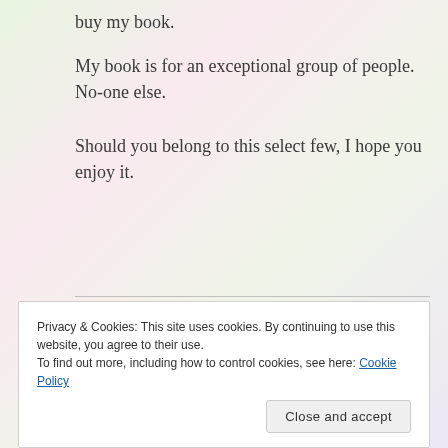buy my book.
My book is for an exceptional group of people. No-one else.
Should you belong to this select few, I hope you enjoy it.
Share this:
Privacy & Cookies: This site uses cookies. By continuing to use this website, you agree to their use.
To find out more, including how to control cookies, see here: Cookie Policy